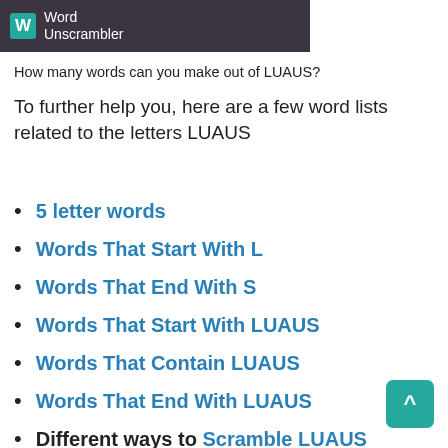[Figure (logo): Word Unscrambler logo with teal W icon on dark background]
How many words can you make out of LUAUS?
To further help you, here are a few word lists related to the letters LUAUS
5 letter words
Words That Start With L
Words That End With S
Words That Start With LUAUS
Words That Contain LUAUS
Words That End With LUAUS
Different ways to Scramble LUAUS